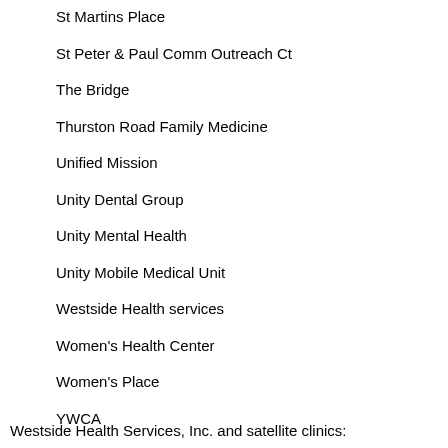St Martins Place
St Peter & Paul Comm Outreach Ct
The Bridge
Thurston Road Family Medicine
Unified Mission
Unity Dental Group
Unity Mental Health
Unity Mobile Medical Unit
Westside Health services
Women's Health Center
Women's Place
YWCA
Westside Health Services, Inc. and satellite clinics: